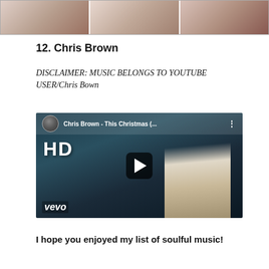[Figure (photo): Three cropped photo panels of a blonde woman at top of page]
12. Chris Brown
DISCLAIMER: MUSIC BELONGS TO YOUTUBE USER/Chris Bown
[Figure (screenshot): YouTube video thumbnail for Chris Brown - This Christmas (HD) via Vevo, showing man in white suit with HD overlay and play button]
I hope you enjoyed my list of soulful music!